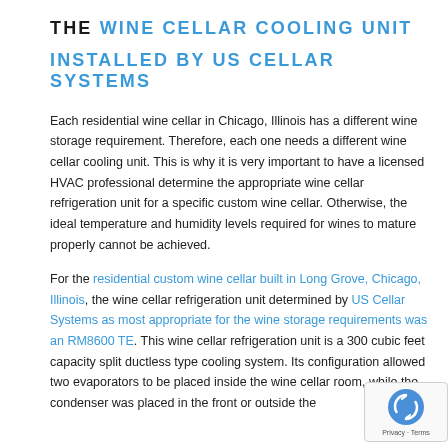THE WINE CELLAR COOLING UNIT INSTALLED BY US CELLAR SYSTEMS
Each residential wine cellar in Chicago, Illinois has a different wine storage requirement. Therefore, each one needs a different wine cellar cooling unit. This is why it is very important to have a licensed HVAC professional determine the appropriate wine cellar refrigeration unit for a specific custom wine cellar. Otherwise, the ideal temperature and humidity levels required for wines to mature properly cannot be achieved.
For the residential custom wine cellar built in Long Grove, Chicago, Illinois, the wine cellar refrigeration unit determined by US Cellar Systems as most appropriate for the wine storage requirements was an RM8600 TE. This wine cellar refrigeration unit is a 300 cubic feet capacity split ductless type cooling system. Its configuration allowed two evaporators to be placed inside the wine cellar room, while the condenser was placed in the front or outside the [text continues]